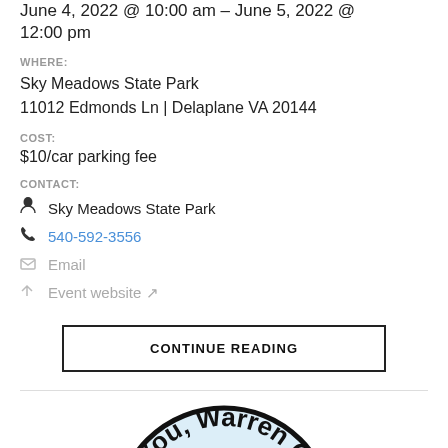June 4, 2022 @ 10:00 am – June 5, 2022 @ 12:00 pm
WHERE:
Sky Meadows State Park
11012 Edmonds Ln | Delaplane VA 20144
COST:
$10/car parking fee
CONTACT:
Sky Meadows State Park
540-592-3556
Email
Event website
CONTINUE READING
[Figure (logo): Partial circular badge/logo with text 'You, Warren C' visible on a light blue background with black border]